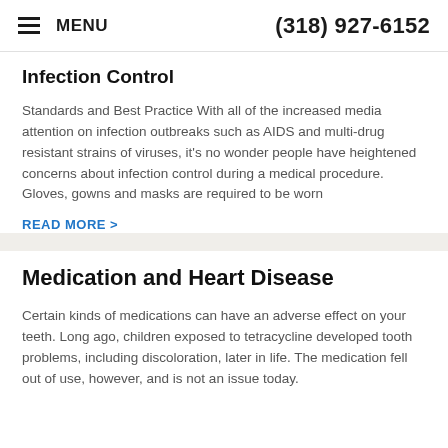MENU  (318) 927-6152
Infection Control
Standards and Best Practice With all of the increased media attention on infection outbreaks such as AIDS and multi-drug resistant strains of viruses, it's no wonder people have heightened concerns about infection control during a medical procedure. Gloves, gowns and masks are required to be worn
READ MORE >
Medication and Heart Disease
Certain kinds of medications can have an adverse effect on your teeth. Long ago, children exposed to tetracycline developed tooth problems, including discoloration, later in life. The medication fell out of use, however, and is not an issue today.